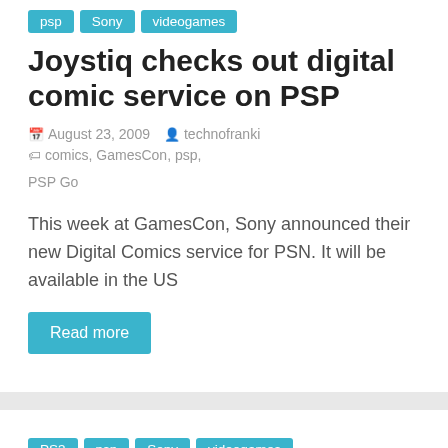psp  Sony  videogames
Joystiq checks out digital comic service on PSP
August 23, 2009  technofranki  comics, GamesCon, psp, PSP Go
This week at GamesCon, Sony announced their new Digital Comics service for PSN. It will be available in the US
Read more
PS3  psp  Sony  videogames
Kaz Hirai reveals PS3 Slim
August 23, 2009  technofranki  interview, Kaz Hirai, PS3, Sony, video, videogames